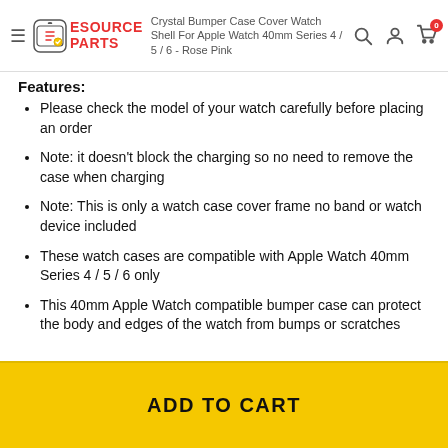Crystal Bumper Case Cover Watch Shell For Apple Watch 40mm Series 4 / 5 / 6 - Rose Pink
Features:
Please check the model of your watch carefully before placing an order
Note: it doesn't block the charging so no need to remove the case when charging
Note: This is only a watch case cover frame no band or watch device included
These watch cases are compatible with Apple Watch 40mm Series 4 / 5 / 6 only
This 40mm Apple Watch compatible bumper case can protect the body and edges of the watch from bumps or scratches
ADD TO CART